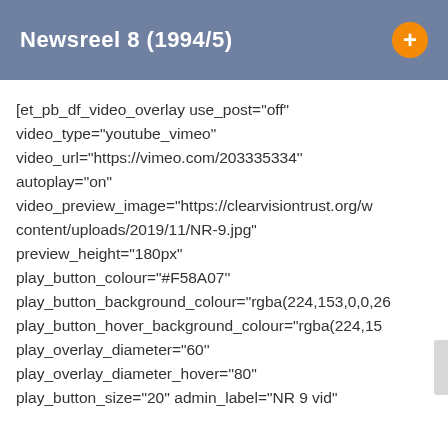Newsreel 8 (1994/5)
[et_pb_df_video_overlay use_post="off" video_type="youtube_vimeo" video_url="https://vimeo.com/203335334'' autoplay="on" video_preview_image="https://clearvisiontrust.org/v content/uploads/2019/11/NR-9.jpg" preview_height="180px" play_button_colour="#F58A07'' play_button_background_colour="rgba(224,153,0,0.26 play_button_hover_background_colour="rgba(224,15 play_overlay_diameter="60'' play_overlay_diameter_hover="80'' play_button_size="20'' admin_label="NR 9 vid"